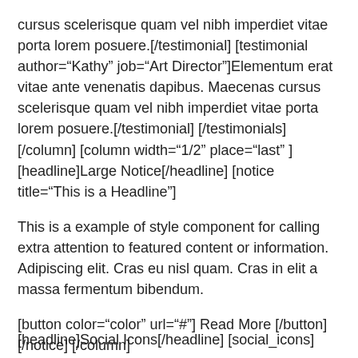cursus scelerisque quam vel nibh imperdiet vitae porta lorem posuere.[/testimonial] [testimonial author="Kathy" job="Art Director"]Elementum erat vitae ante venenatis dapibus. Maecenas cursus scelerisque quam vel nibh imperdiet vitae porta lorem posuere.[/testimonial] [/testimonials] [/column] [column width="1/2" place="last" ] [headline]Large Notice[/headline] [notice title="This is a Headline"]
This is a example of style component for calling extra attention to featured content or information. Adipiscing elit. Cras eu nisl quam. Cras in elit a massa fermentum bibendum.
[button color="color" url="#"] Read More [/button] [/notice] [/column]
[headline]Social Icons[/headline] [social_icons]